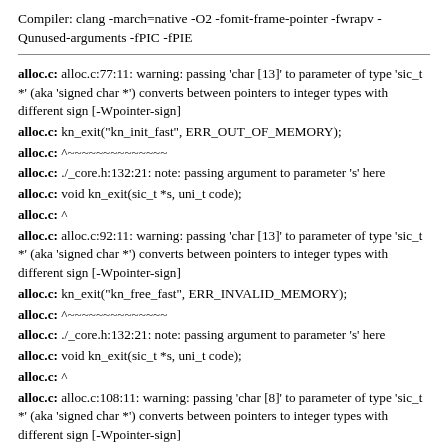Compiler: clang -march=native -O2 -fomit-frame-pointer -fwrapv -Qunused-arguments -fPIC -fPIE
alloc.c: alloc.c:77:11: warning: passing 'char [13]' to parameter of type 'sic_t *' (aka 'signed char *') converts between pointers to integer types with different sign [-Wpointer-sign]
alloc.c: kn_exit("kn_init_fast", ERR_OUT_OF_MEMORY);
alloc.c: ^~~~~~~~~~~~~~~
alloc.c: ./_core.h:132:21: note: passing argument to parameter 's' here
alloc.c: void kn_exit(sic_t *s, uni_t code);
alloc.c: ^
alloc.c: alloc.c:92:11: warning: passing 'char [13]' to parameter of type 'sic_t *' (aka 'signed char *') converts between pointers to integer types with different sign [-Wpointer-sign]
alloc.c: kn_exit("kn_free_fast", ERR_INVALID_MEMORY);
alloc.c: ^~~~~~~~~~~~~~~
alloc.c: ./_core.h:132:21: note: passing argument to parameter 's' here
alloc.c: void kn_exit(sic_t *s, uni_t code);
alloc.c: ^
alloc.c: alloc.c:108:11: warning: passing 'char [8]' to parameter of type 'sic_t *' (aka 'signed char *') converts between pointers to integer types with different sign [-Wpointer-sign]
alloc.c: kn_exit("kn_kill", ERR_INVALID_MEMORY);